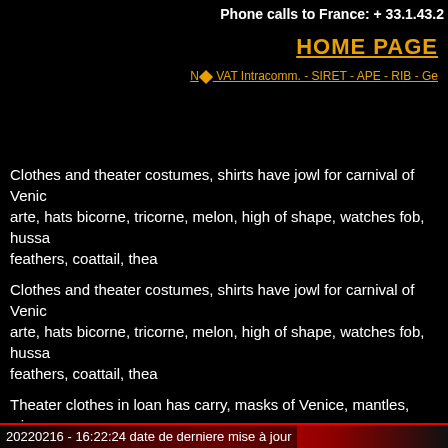Phone calls to France: + 33.1.43.2
HOME PAGE
N◆ VAT Intracomm. - SIRET - APE - RIB - Ge
Clothes and theater costumes, shirts have jowl for carnival of Venice, arte, hats bicorne, tricorne, melon, high of shape, watches fob, hussa feathers, coattail, thea
Clothes and theater costumes, shirts have jowl for carnival of Venice, arte, hats bicorne, tricorne, melon, high of shape, watches fob, hussa feathers, coattail, thea
Theater clothes in loan has carry, masks of Venice, mantles, wigs, s musketeers. Theater accessories for costumers, spectacles, movies, d Hat melon, borsalino and tricornes bicornes
20220216 - 16:22:24 date de derniere mise à jour